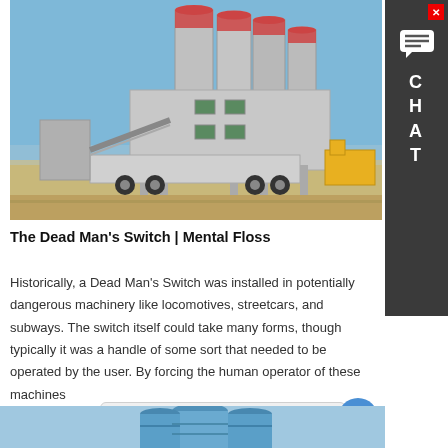[Figure (photo): Industrial cement/concrete plant with large silos and a truck, blue sky background]
The Dead Man's Switch | Mental Floss
Historically, a Dead Man's Switch was installed in potentially dangerous machinery like locomotives, streetcars, and subways. The switch itself could take many forms, though typically it was a handle of some sort that needed to be operated by the user. By forcing the human operator of these machines
Learn More
Hey, we are live 24/7. How may I help you?
[Figure (screenshot): Chat widget with sidebar showing CHAT label and live chat tooltip]
[Figure (photo): Bottom strip showing blue industrial silos]